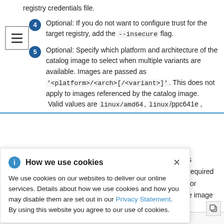registry credentials file.
4  Optional: If you do not want to configure trust for the target registry, add the --insecure flag.
5  Optional: Specify which platform and architecture of the catalog image to select when multiple variants are available. Images are passed as '<platform>/<arch>[/<variant>]'. This does not apply to images referenced by the catalog image. Valid values are linux/amd64, linux/ppc641e ,
[Figure (screenshot): Cookie consent popup overlay with title 'How we use cookies', info icon, close button (×), and body text: 'We use cookies on our websites to deliver our online services. Details about how we use cookies and how you may disable them are set out in our Privacy Statement. By using this website you agree to our use of cookies.']
s required for e image
using database path mapping: /:/tmp/19021403